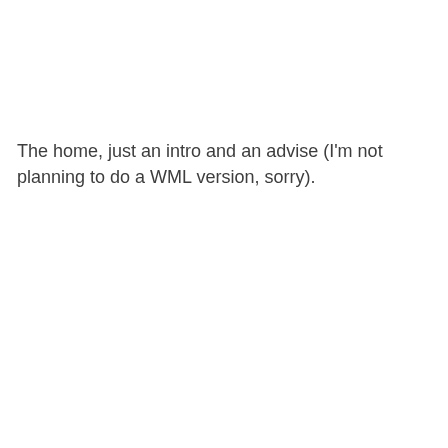The home, just an intro and an advise (I'm not planning to do a WML version, sorry).